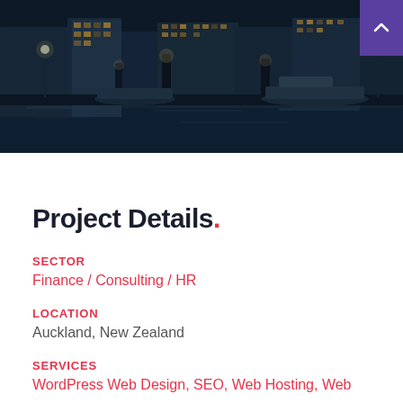[Figure (photo): Night cityscape photo showing waterfront with marina, boats, tall office buildings lit up at night, dark water in foreground with reflections and bollards/posts visible]
Project Details.
SECTOR
Finance / Consulting / HR
LOCATION
Auckland, New Zealand
SERVICES
WordPress Web Design, SEO, Web Hosting, Web